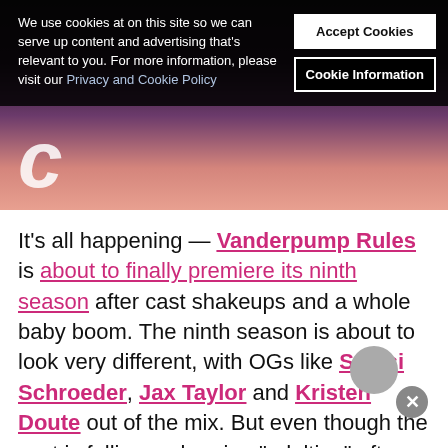[Figure (photo): Cookie consent banner overlay on top of a website header showing two people, one in a purple shirt and one in a pink top, with partial letter visible on left side]
We use cookies at on this site so we can serve up content and advertising that's relevant to you. For more information, please visit our Privacy and Cookie Policy
Accept Cookies
Cookie Information
It’s all happening — Vanderpump Rules is about to finally premiere its ninth season after cast shakeups and a whole baby boom. The ninth season is about to look very different, with OGs like Stassi Schroeder, Jax Taylor and Kristen Doute out of the mix. But even though the cast is fulling embracing “adulting” after years of debauchery, that doesn’t mean they won’t fall